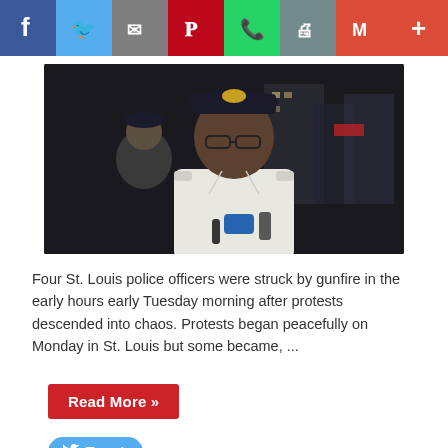[Figure (screenshot): Social media sharing toolbar with icons for Facebook, Twitter, Email, Pinterest, WhatsApp, Print, Gmail, and More (plus sign). Each icon has a colored background: blue, light blue, gray, red, green, gray-teal, red, red.]
[Figure (photo): A Black police officer in white uniform shirt and dark cap with gold badge, wearing glasses, speaking into microphones. Another officer visible in background. Night scene with city lights.]
Four St. Louis police officers were struck by gunfire in the early hours early Tuesday morning after protests descended into chaos. Protests began peacefully on Monday in St. Louis but some became, ...
Read More »
Tweet
Share
Save